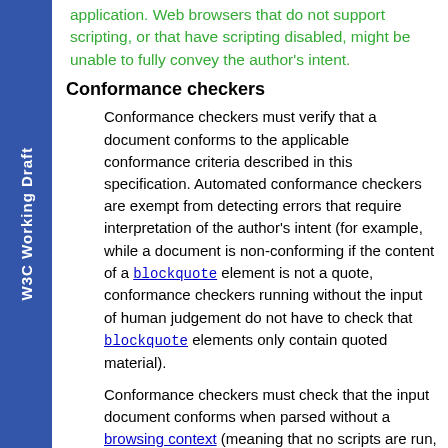W3C Working Draft
application. Web browsers that do not support scripting, or that have scripting disabled, might be unable to fully convey the author's intent.
Conformance checkers
Conformance checkers must verify that a document conforms to the applicable conformance criteria described in this specification. Automated conformance checkers are exempt from detecting errors that require interpretation of the author's intent (for example, while a document is non-conforming if the content of a blockquote element is not a quote, conformance checkers running without the input of human judgement do not have to check that blockquote elements only contain quoted material).
Conformance checkers must check that the input document conforms when parsed without a browsing context (meaning that no scripts are run, and that the parser's scripting flag is disabled), and should also check that